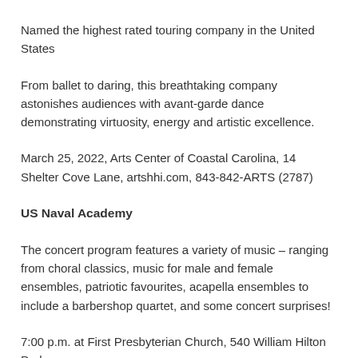Named the highest rated touring company in the United States
From ballet to daring, this breathtaking company astonishes audiences with avant-garde dance demonstrating virtuosity, energy and artistic excellence.
March 25, 2022, Arts Center of Coastal Carolina, 14 Shelter Cove Lane, artshhi.com, 843-842-ARTS (2787)
US Naval Academy
The concert program features a variety of music – ranging from choral classics, music for male and female ensembles, patriotic favourites, acapella ensembles to include a barbershop quartet, and some concert surprises!
7:00 p.m. at First Presbyterian Church, 540 William Hilton Parkway, Hilton Head Island, SC